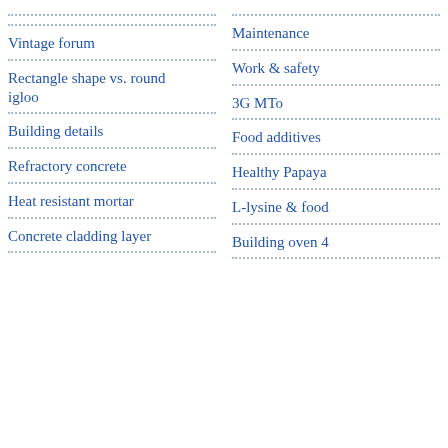Vintage forum
Rectangle shape vs. round igloo
Building details
Refractory concrete
Heat resistant mortar
Concrete cladding layer
Maintenance
Work & safety
3G MTo
Food additives
Healthy Papaya
L-lysine & food
Building oven 4